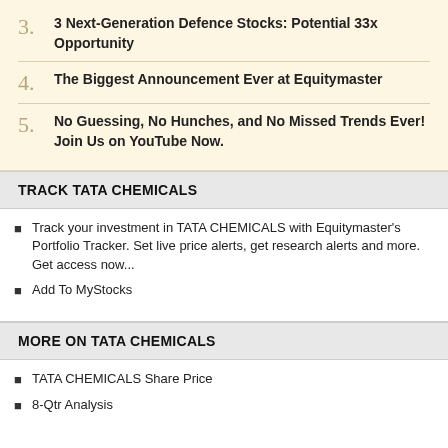3. 3 Next-Generation Defence Stocks: Potential 33x Opportunity
4. The Biggest Announcement Ever at Equitymaster
5. No Guessing, No Hunches, and No Missed Trends Ever! Join Us on YouTube Now.
TRACK TATA CHEMICALS
Track your investment in TATA CHEMICALS with Equitymaster's Portfolio Tracker. Set live price alerts, get research alerts and more. Get access now...
Add To MyStocks
MORE ON TATA CHEMICALS
TATA CHEMICALS Share Price
8-Qtr Analysis